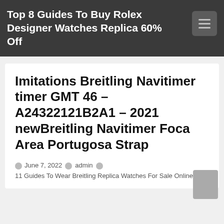Top 8 Guides To Buy Rolex Designer Watches Replica 60% Off
Imitations Breitling Navitimer timer GMT 46 – A24322121B2A1 – 2021 newBreitling Navitimer Foca Area Portugosa Strap
June 7, 2022   admin   11 Guides To Wear Breitling Replica Watches For Sale Online